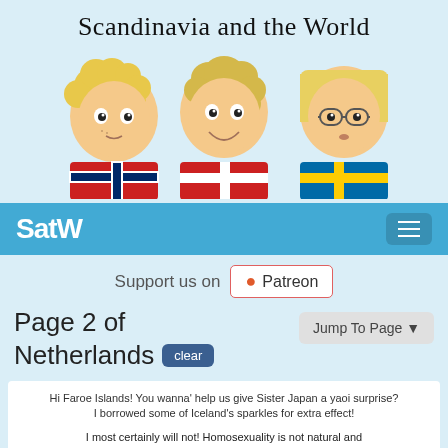Scandinavia and the World
[Figure (illustration): Three cartoon characters (Norway, Denmark, Sweden) from the webcomic 'Scandinavia and the World', shown as stylized chibi figures with their national flag clothing.]
SatW
Support us on Patreon
Page 2 of Netherlands clear
Jump To Page
Hi Faroe Islands! You wanna' help us give Sister Japan a yaoi surprise? I borrowed some of Iceland's sparkles for extra effect!
I most certainly will not! Homosexuality is not natural and goes against God's laws! So not only is your action in itself a sin, it is also a sin to encourage Japan's unholy